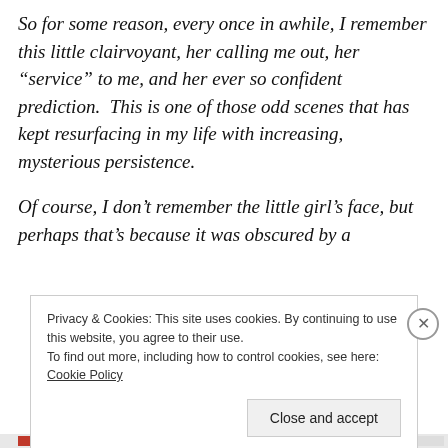So for some reason, every once in awhile, I remember this little clairvoyant, her calling me out, her “service” to me, and her ever so confident prediction.  This is one of those odd scenes that has kept resurfacing in my life with increasing, mysterious persistence.
Of course, I don’t remember the little girl’s face, but perhaps that’s because it was obscured by a
Privacy & Cookies: This site uses cookies. By continuing to use this website, you agree to their use.
To find out more, including how to control cookies, see here: Cookie Policy
Close and accept